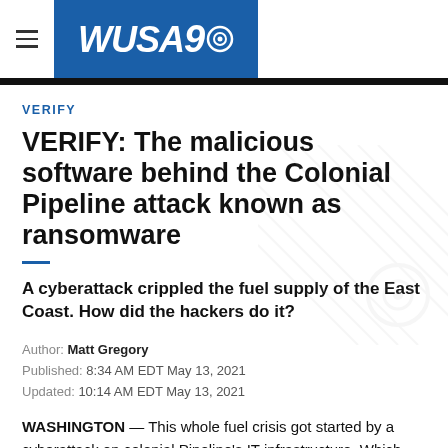WUSA9
VERIFY
VERIFY: The malicious software behind the Colonial Pipeline attack known as ransomware
A cyberattack crippled the fuel supply of the East Coast. How did the hackers do it?
Author: Matt Gregory
Published: 8:34 AM EDT May 13, 2021
Updated: 10:14 AM EDT May 13, 2021
WASHINGTON — This whole fuel crisis got started by a cyberattack on colonial Pipeline's IT infrastructure. Which